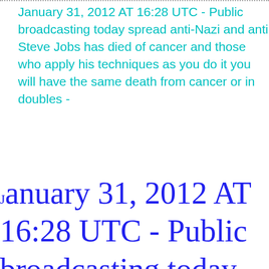January 31, 2012 AT 16:28 UTC - Public broadcasting today spread anti-Nazi and anti Steve Jobs has died of cancer and those who apply his techniques as you do it you will have the same death from cancer or in doubles -
January 31, 2012 AT 16:28 UTC - Public broadcasting today spread anti-Nazi and anti Steve Jobs has died of cancer and those apply his techniques as you do it you will the same death from cancer or in doubles Meryluise Astrology - Silvio Berlusconi sin he began to want to apply the techniques Steve Jobs has had cancer and yet still g